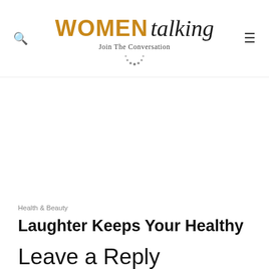WOMEN talking – Join The Conversation
Health & Beauty
Laughter Keeps Your Healthy
Leave a Reply